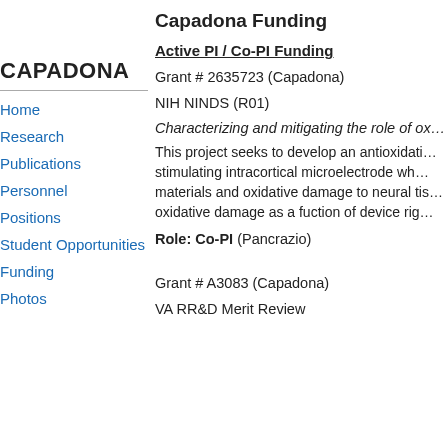CAPADONA
Home
Research
Publications
Personnel
Positions
Student Opportunities
Funding
Photos
Capadona Funding
Active PI / Co-PI Funding
Grant # 2635723 (Capadona)
NIH NINDS (R01)
Characterizing and mitigating the role of ox…
This project seeks to develop an antioxidati… stimulating intracortical microelectrode wh… materials and oxidative damage to neural tis… oxidative damage as a fuction of device rig…
Role: Co-PI (Pancrazio)
Grant # A3083 (Capadona)
VA RR&D Merit Review